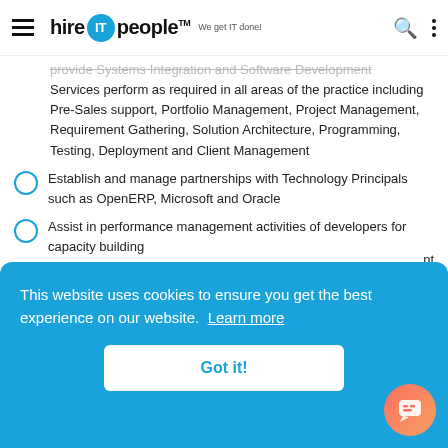hire IT people — We get IT done!
provide Systems Integration and Software Development Services perform as required in all areas of the practice including Pre-Sales support, Portfolio Management, Project Management, Requirement Gathering, Solution Architecture, Programming, Testing, Deployment and Client Management
Establish and manage partnerships with Technology Principals such as OpenERP, Microsoft and Oracle
Assist in performance management activities of developers for capacity building
This website uses cookies to ensure you get the best experience on our website. Learn more
Got it!
insurance provider